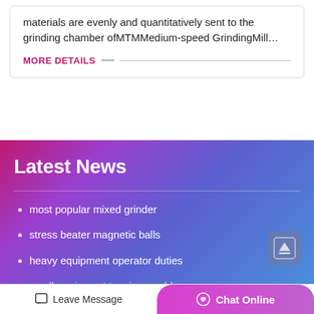materials are evenly and quantitatively sent to the grinding chamber ofMTMMedium-speed GrindingMill…
MORE DETAILS
Latest News
most popular mixed grinder
stress beater magnetic balls
heavy equipment operator duties
small equipment to mine marble
Leave Message
Chat Online